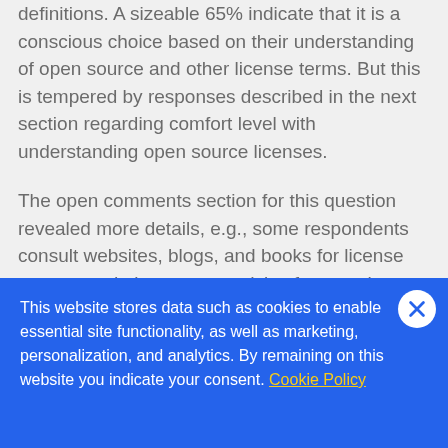definitions. A sizeable 65% indicate that it is a conscious choice based on their understanding of open source and other license terms. But this is tempered by responses described in the next section regarding comfort level with understanding open source licenses.
The open comments section for this question revealed more details, e.g., some respondents consult websites, blogs, and books for license recommendations, or get advice from package reviewers. Some respondents
This website stores data such as cookies to enable essential site functionality, as well as marketing, personalization, and analytics. By remaining on this website you indicate your consent. Cookie Policy